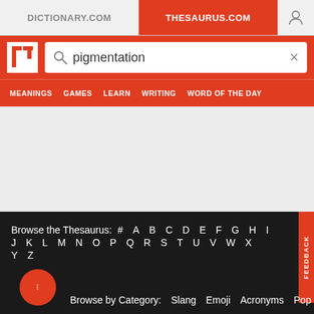DICTIONARY.COM | THESAURUS.COM
[Figure (screenshot): Thesaurus.com website header with search bar containing 'pigmentation', navigation menu with MEANINGS, GAMES, LEARN, WRITING, WORD OF THE DAY]
Browse the Thesaurus: # A B C D E F G H I J K L M N O P Q R S T U V W X Y Z
Browse by Category: Slang  Emoji  Acronyms  Pop Culture